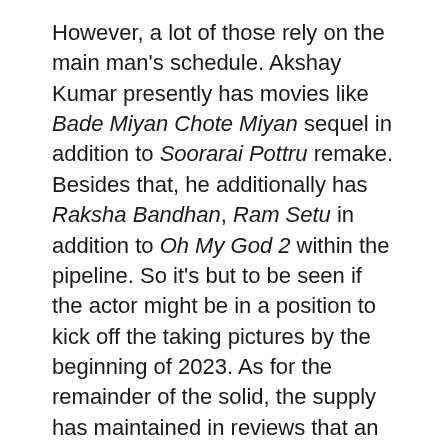However, a lot of those rely on the main man's schedule. Akshay Kumar presently has movies like Bade Miyan Chote Miyan sequel in addition to Soorarai Pottru remake. Besides that, he additionally has Raksha Bandhan, Ram Setu in addition to Oh My God 2 within the pipeline. So it's but to be seen if the actor might be in a position to kick off the taking pictures by the beginning of 2023. As for the remainder of the solid, the supply has maintained in reviews that an announcement might be anticipated within the subsequent two months.
Also Read: BREAKING: Raksha Bandhan trailer out on June 21; Akshay Kumar to launch the trailer with an occasion in Mumbai